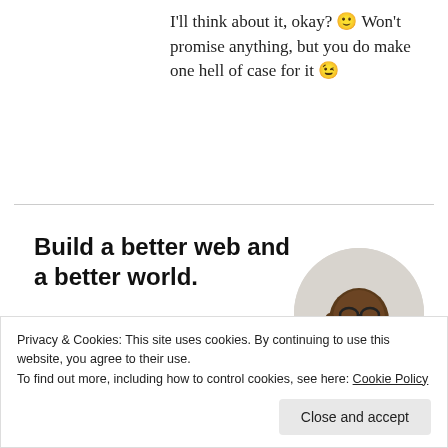I'll think about it, okay? 🙂 Won't promise anything, but you do make one hell of case for it 😉
[Figure (other): Advertisement: Build a better web and a better world. Apply button with circular photo of a man thinking.]
Privacy & Cookies: This site uses cookies. By continuing to use this website, you agree to their use.
To find out more, including how to control cookies, see here: Cookie Policy